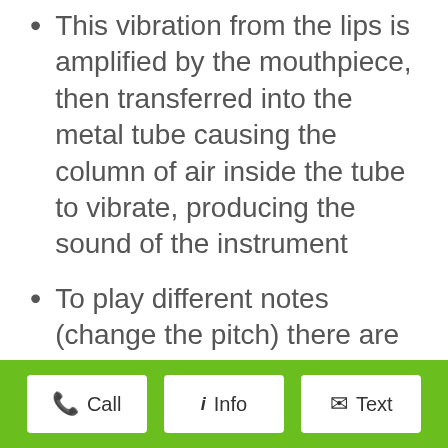This vibration from the lips is amplified by the mouthpiece, then transferred into the metal tube causing the column of air inside the tube to vibrate, producing the sound of the instrument
To play different notes (change the pitch) there are valves or a slide (as in a trombone) that extend or decrease the length of the vibrating air column
The longer the tube the lower the
Call  Info  Text